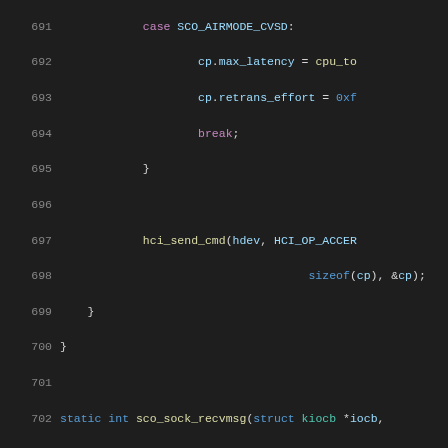Source code listing, lines 691-712, C kernel networking code (sco_sock_recvmsg function)